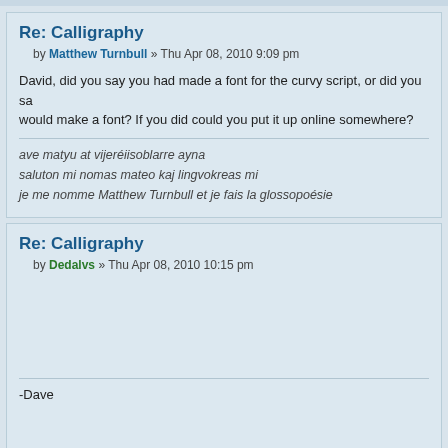Re: Calligraphy
by Matthew Turnbull » Thu Apr 08, 2010 9:09 pm
David, did you say you had made a font for the curvy script, or did you say you would make a font? If you did could you put it up online somewhere?
ave matyu at vijeréiisoblarre ayna
saluton mi nomas mateo kaj lingvokreas mi
je me nomme Matthew Turnbull et je fais la glossopoésie
Re: Calligraphy
by Dedalvs » Thu Apr 08, 2010 10:15 pm
-Dave
Previous   Display posts from previous: All posts   Sort by Post time
Post a reply
Return to Arts And Crafts
Jump to: